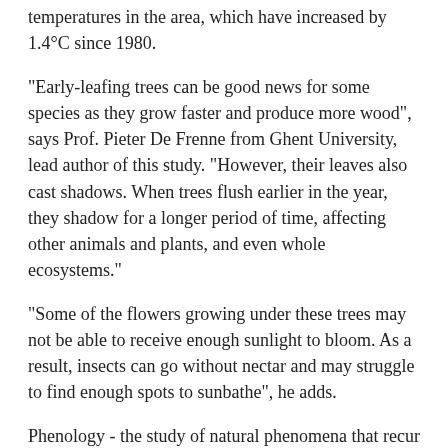temperatures in the area, which have increased by 1.4°C since 1980.
"Early-leafing trees can be good news for some species as they grow faster and produce more wood", says Prof. Pieter De Frenne from Ghent University, lead author of this study. "However, their leaves also cast shadows. When trees flush earlier in the year, they shadow for a longer period of time, affecting other animals and plants, and even whole ecosystems."
"Some of the flowers growing under these trees may not be able to receive enough sunlight to bloom. As a result, insects can go without nectar and may struggle to find enough spots to sunbathe", he adds.
Phenology - the study of natural phenomena that recur periodically such as leafing and flowering - is mostly based on long-term observations and repeat photography, with data often being biased towards common species or geographical regions. In this study, archive footage allowed the researchers to use previously unexploited records of twelve tree species in the